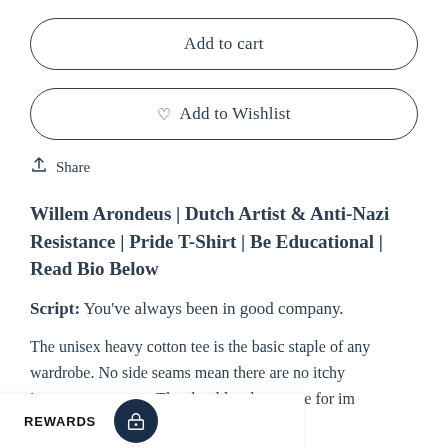Add to cart
♡ Add to Wishlist
↑ Share
Willem Arondeus | Dutch Artist & Anti-Nazi Resistance | Pride T-Shirt | Be Educational | Read Bio Below
Script: You've always been in good company.
The unisex heavy cotton tee is the basic staple of any wardrobe. No side seams mean there are no itchy int[errupting sea]ms. The shoulders have tape for im[proved shape]
REWARDS